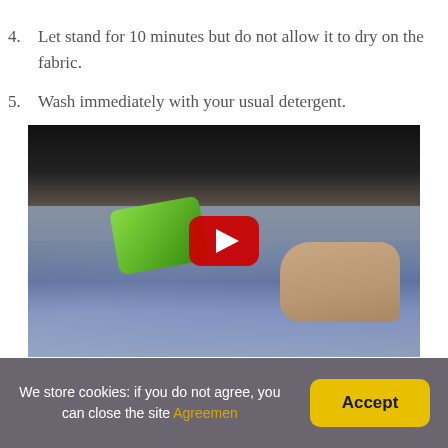4. Let stand for 10 minutes but do not allow it to dry on the fabric.
5. Wash immediately with your usual detergent.
[Figure (screenshot): Video thumbnail showing hands scrubbing denim jeans with a green sponge, with a YouTube play button overlay in the center.]
We store cookies: if you do not agree, you can close the site Agreemen